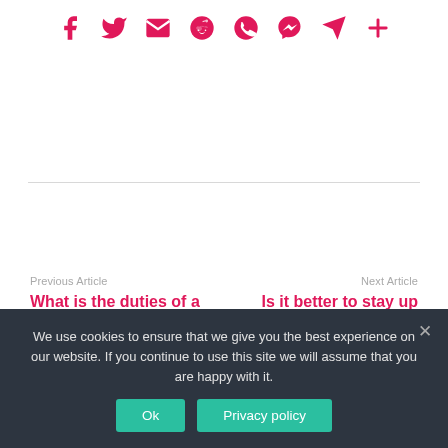[Figure (other): Social sharing icons row: Facebook, Twitter, Email, Reddit, WhatsApp, Messenger, Telegram, Plus — all in pink/crimson color]
Previous Article
What is the duties of a king?
Next Article
Is it better to stay up studying or sleep?
We use cookies to ensure that we give you the best experience on our website. If you continue to use this site we will assume that you are happy with it.
Ok
Privacy policy